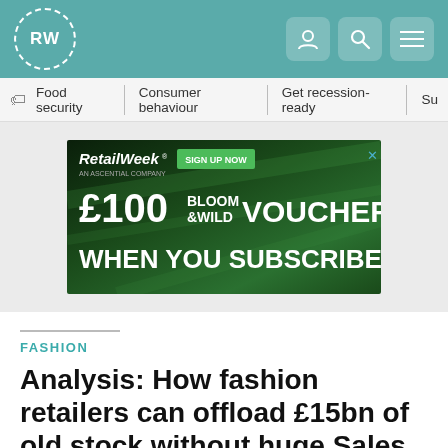RW
Food security | Consumer behaviour | Get recession-ready | Su
[Figure (illustration): Retail Week advertisement banner: £100 Bloom & Wild Voucher when you subscribe, with green background and sign up now button]
FASHION
Analysis: How fashion retailers can offload £15bn of old stock without huge Sales
By Rosie Shepard | 29 May 2020